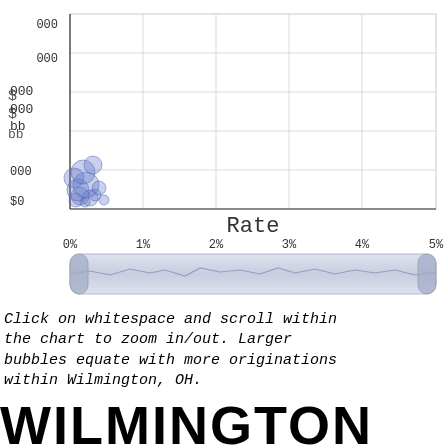[Figure (bubble-chart): Bubble chart with x-axis showing Rate from 0% to 5% and y-axis showing dollar amounts from $0 upward. Bubbles are clustered near the left side (low rates, low dollar amounts). Includes a scroll/zoom range selector below the main chart area.]
Click on whitespace and scroll within the chart to zoom in/out. Larger bubbles equate with more originations within Wilmington, OH.
WILMINGTON TOP